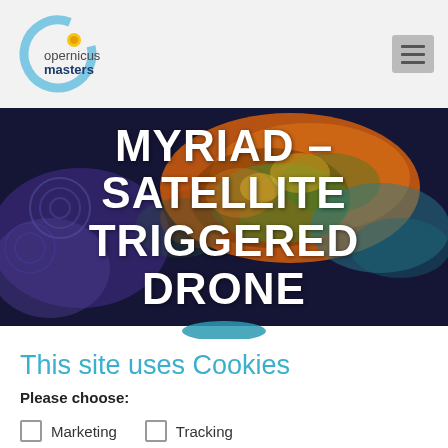Copernicus Masters
[Figure (logo): Copernicus Masters logo with circular C shape and blue/gold styling]
MYRIAD – SATELLITE TRIGGERED DRONE
[Figure (photo): Hero banner background with satellite imagery showing colorful aerial view of terrain in orange, green, blue and purple tones on dark navy background]
This site uses Cookies
Please choose:
Marketing
Tracking